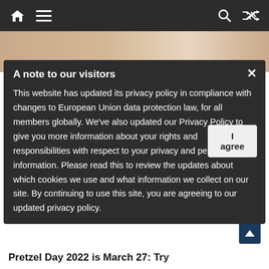Navigation bar with home, menu, search, and shuffle icons
[Figure (screenshot): Background webpage showing a partial article image, Affiliate Marketing tag, and article headline partially visible behind modal]
A note to our visitors
This website has updated its privacy policy in compliance with changes to European Union data protection law, for all members globally. We've also updated our Privacy Policy to give you more information about your rights and responsibilities with respect to your privacy and personal information. Please read this to review the updates about which cookies we use and what information we collect on our site. By continuing to use this site, you are agreeing to our updated privacy policy.
Pretzel Day 2022 is March 27: Try